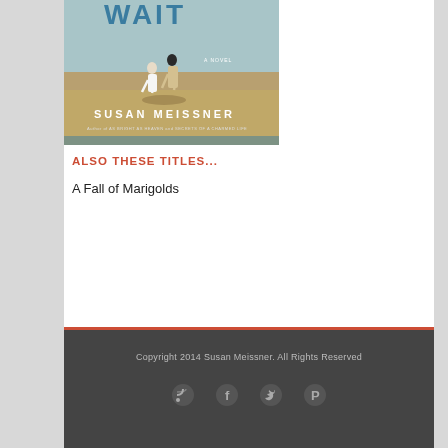[Figure (illustration): Book cover for a novel by Susan Meissner showing two children running across a field. Text reads 'WAIT', 'A NOVEL', 'SUSAN MEISSNER', 'Author of AS BRIGHT AS HEAVEN and SECRETS OF A CHARMED LIFE']
ALSO THESE TITLES...
A Fall of Marigolds
Copyright 2014 Susan Meissner. All Rights Reserved